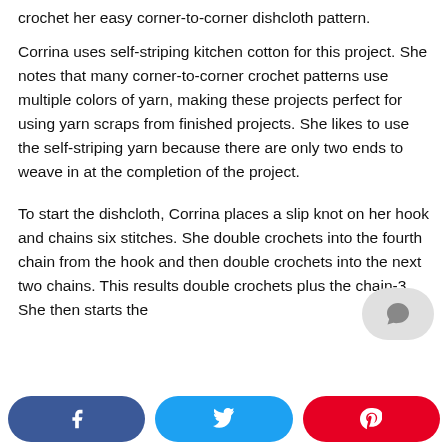crochet her easy corner-to-corner dishcloth pattern.

Corrina uses self-striping kitchen cotton for this project. She notes that many corner-to-corner crochet patterns use multiple colors of yarn, making these projects perfect for using yarn scraps from finished projects. She likes to use the self-striping yarn because there are only two ends to weave in at the completion of the project.

To start the dishcloth, Corrina places a slip knot on her hook and chains six stitches. She double crochets into the fourth chain from the hook and then double crochets into the next two chains. This results double crochets plus the chain-3. She then starts the